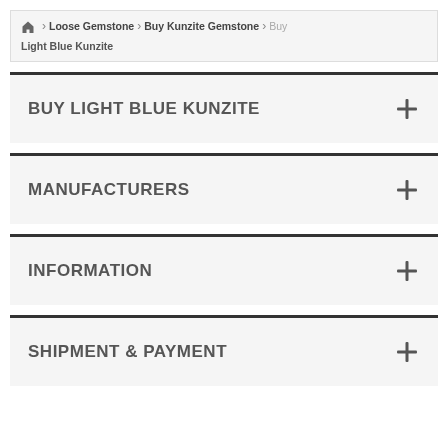Home > Loose Gemstone > Buy Kunzite Gemstone > Buy Light Blue Kunzite
BUY LIGHT BLUE KUNZITE
MANUFACTURERS
INFORMATION
SHIPMENT & PAYMENT